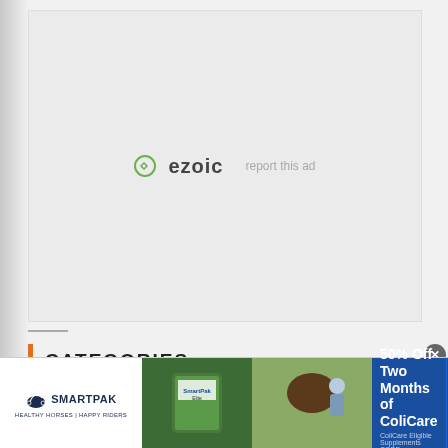[Figure (other): Large advertisement placeholder area with ezoic logo and 'report this ad' link]
CATEGORIES
Brakes
[Figure (other): SmartPak advertisement banner: '50% Off Two Months of ColiCare, ColiCare Eligible Supplements CODE: COLICARE10' with Shop Now button]